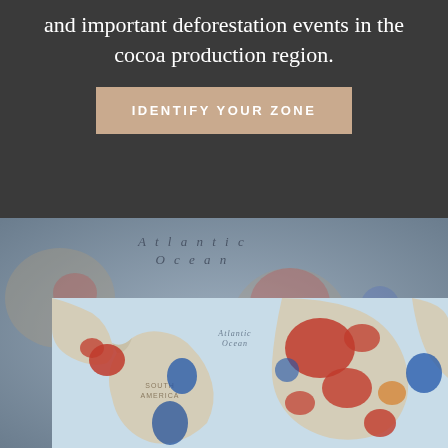and important deforestation events in the cocoa production region.
IDENTIFY YOUR ZONE
[Figure (map): World map showing deforestation zones in cocoa production regions, with red and blue highlighted areas over South America and Africa. An inner zoomed map shows the Atlantic Ocean label, South America landmass, and colored deforestation patches in red (high deforestation) and blue (other zones).]